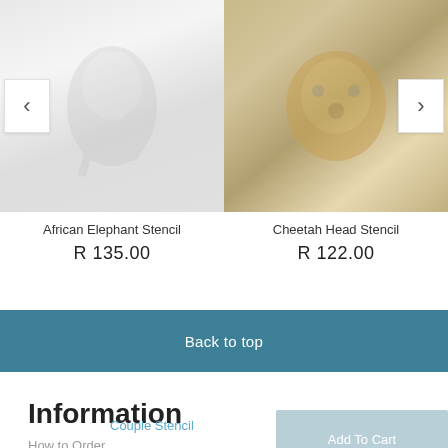[Figure (photo): Blurred/faint African Elephant Stencil product image with left navigation arrow button]
[Figure (photo): Blurred Cheetah Head Stencil product image with right navigation arrow button]
African Elephant Stencil
R 135.00
Cheetah Head Stencil
R 122.00
Back to top
Information
How to Order
Add To Cart